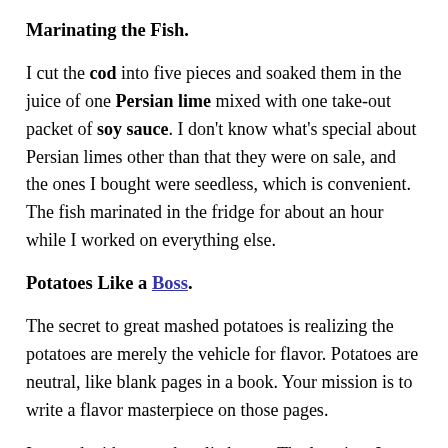Marinating the Fish.
I cut the cod into five pieces and soaked them in the juice of one Persian lime mixed with one take-out packet of soy sauce. I don't know what's special about Persian limes other than that they were on sale, and the ones I bought were seedless, which is convenient. The fish marinated in the fridge for about an hour while I worked on everything else.
Potatoes Like a Boss.
The secret to great mashed potatoes is realizing the potatoes are merely the vehicle for flavor. Potatoes are neutral, like blank pages in a book. Your mission is to write a flavor masterpiece on those pages.
I started with roasted garlic butter. The last time I made garlic butter, it didn't have enough garlic flavor